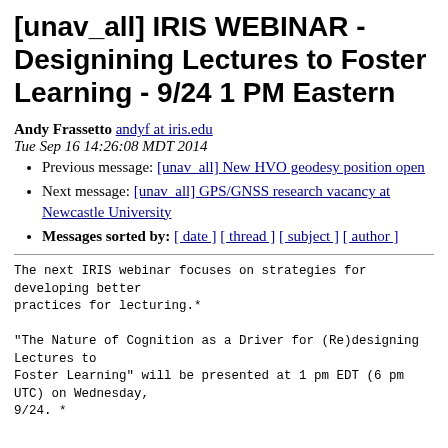[unav_all] IRIS WEBINAR - Designining Lectures to Foster Learning - 9/24 1 PM Eastern
Andy Frassetto andyf at iris.edu
Tue Sep 16 14:26:08 MDT 2014
Previous message: [unav_all] New HVO geodesy position open
Next message: [unav_all] GPS/GNSS research vacancy at Newcastle University
Messages sorted by: [ date ] [ thread ] [ subject ] [ author ]
The next IRIS webinar focuses on strategies for developing better
practices for lecturing.*

"The Nature of Cognition as a Driver for (Re)designing Lectures to
Foster Learning" will be presented at 1 pm EDT (6 pm UTC) on Wednesday,
9/24. *